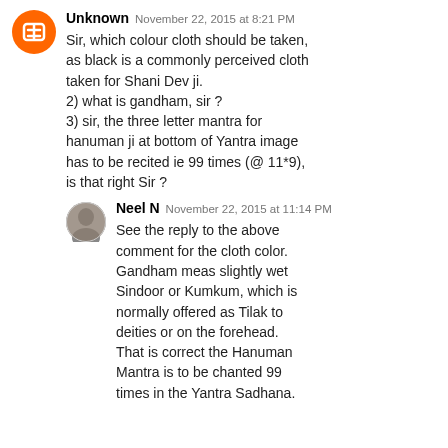Unknown  November 22, 2015 at 8:21 PM
Sir, which colour cloth should be taken, as black is a commonly perceived cloth taken for Shani Dev ji.
2) what is gandham, sir ?
3) sir, the three letter mantra for hanuman ji at bottom of Yantra image has to be recited ie 99 times (@ 11*9), is that right Sir ?
Neel N  November 22, 2015 at 11:14 PM
See the reply to the above comment for the cloth color. Gandham meas slightly wet Sindoor or Kumkum, which is normally offered as Tilak to deities or on the forehead. That is correct the Hanuman Mantra is to be chanted 99 times in the Yantra Sadhana.